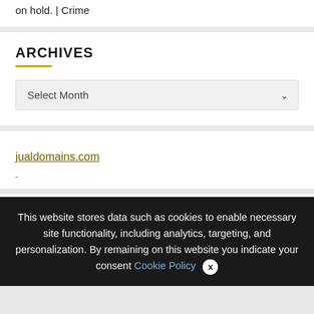on hold. | Crime
ARCHIVES
Select Month
jualdomains.com
We use cookies on our website to give you the most relevant experience by remembering your preferences and repeat visits. By clicking "Accept All", you consent to the use of ALL the controlled consent.
This website stores data such as cookies to enable necessary site functionality, including analytics, targeting, and personalization. By remaining on this website you indicate your consent Cookie Policy x